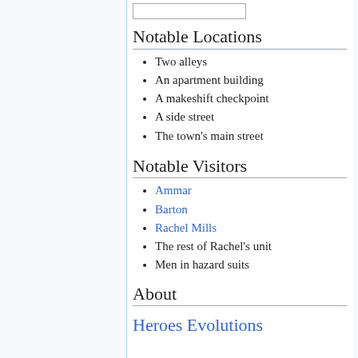Notable Locations
Two alleys
An apartment building
A makeshift checkpoint
A side street
The town's main street
Notable Visitors
Ammar
Barton
Rachel Mills
The rest of Rachel's unit
Men in hazard suits
About
Heroes Evolutions